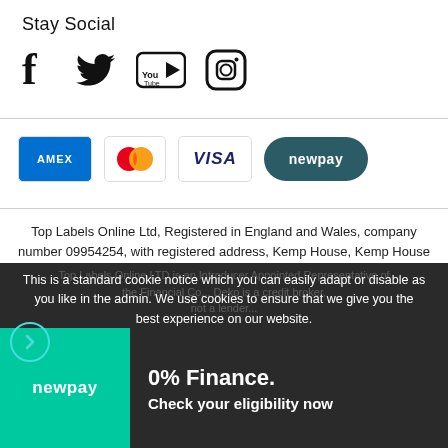Stay Social
[Figure (logo): Social media icons: Facebook, Twitter, YouTube, Instagram]
[Figure (logo): Payment method logos: AMEX, Mastercard, VISA, newpay]
Top Labels Online Ltd, Registered in England and Wales, company number 09954254, with registered address, Kemp House, Kemp House 160 City Road, London, England, EC1V 2NX
VAT: GB230736429
Top Labels Online LTD is an Introducer Appointed Representative of...
This is a standard cookie notice which you can easily adapt or disable as you like in the admin. We use cookies to ensure that we give you the best experience on our website.
[Figure (logo): newpay logo in teal box with 0% Finance offer - Check your eligibility now]